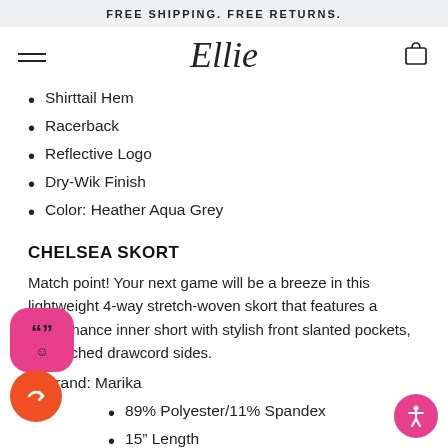FREE SHIPPING. FREE RETURNS.
[Figure (logo): Ellie brand logo in cursive script with hamburger menu and shopping bag icon]
Shirttail Hem
Racerback
Reflective Logo
Dry-Wik Finish
Color: Heather Aqua Grey
CHELSEA SKORT
Match point! Your next game will be a breeze in this lightweight 4-way stretch-woven skort that features a performance inner short with stylish front slanted pockets, and ruched drawcord sides.
Brand: Marika
89% Polyester/11% Spandex
15” Length
Lightweight Jersey Inner Short
Elastic Pieced Waistband